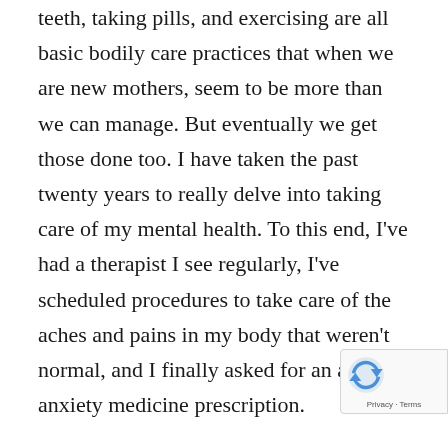teeth, taking pills, and exercising are all basic bodily care practices that when we are new mothers, seem to be more than we can manage. But eventually we get those done too. I have taken the past twenty years to really delve into taking care of my mental health. To this end, I've had a therapist I see regularly, I've scheduled procedures to take care of the aches and pains in my body that weren't normal, and I finally asked for an anti-anxiety medicine prescription.
I ask myself what else do I need to do to let me know I'm taking care of me? My inner child has begun to trust me and understand that even those things I really don't feel like doing will make me feel better